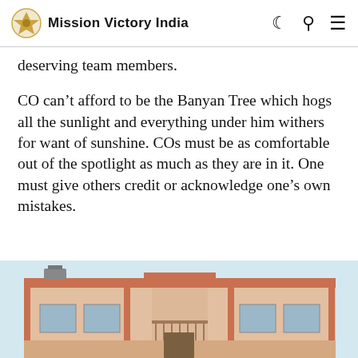Mission Victory India
deserving team members.
CO can't afford to be the Banyan Tree which hogs all the sunlight and everything under him withers for want of sunshine. COs must be as comfortable out of the spotlight as much as they are in it. One must give others credit or acknowledge one's own mistakes.
[Figure (photo): Exterior view of a building with pink/orange painted walls, balcony railings, and windows; appears to be a military or institutional building in India.]